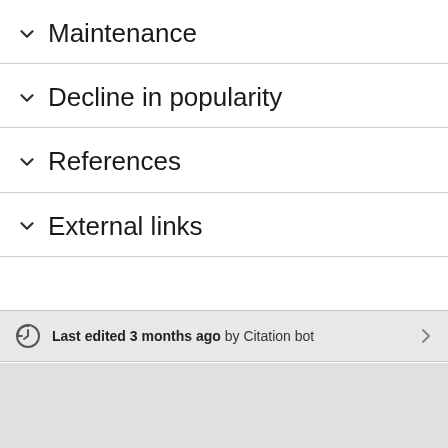Maintenance
Decline in popularity
References
External links
Last edited 3 months ago by Citation bot